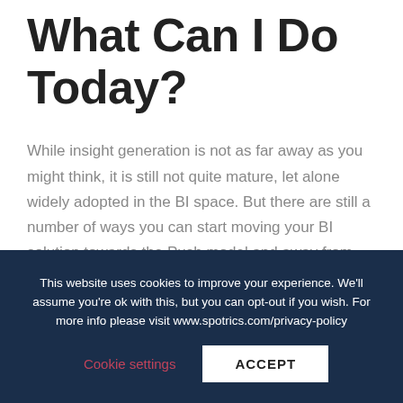What Can I Do Today?
While insight generation is not as far away as you might think, it is still not quite mature, let alone widely adopted in the BI space. But there are still a number of ways you can start moving your BI solution towards the Push model and away from Pull model.
This website uses cookies to improve your experience. We'll assume you're ok with this, but you can opt-out if you wish. For more info please visit www.spotrics.com/privacy-policy
Cookie settings  ACCEPT